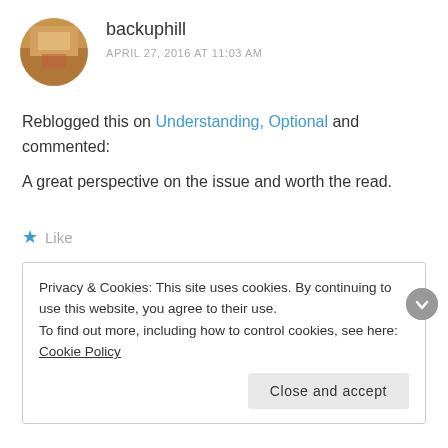[Figure (photo): Circular avatar photo of user backuphill, showing a colorful background image]
backuphill
APRIL 27, 2016 AT 11:03 AM
Reblogged this on Understanding, Optional and commented:
A great perspective on the issue and worth the read.
★ Like
Reply
Privacy & Cookies: This site uses cookies. By continuing to use this website, you agree to their use.
To find out more, including how to control cookies, see here: Cookie Policy
Close and accept